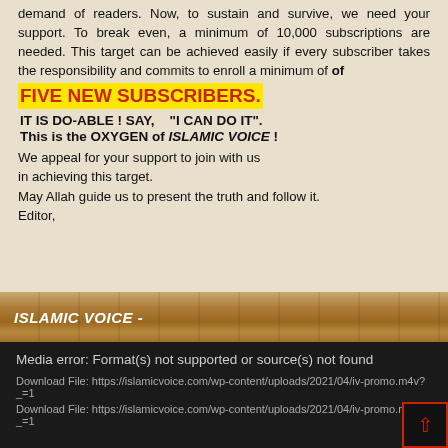demand of readers. Now, to sustain and survive, we need your support. To break even, a minimum of 10,000 subscriptions are needed. This target can be achieved easily if every subscriber takes the responsibility and commits to enroll a minimum of
FIVE NEW SUBSCRIBERS.
IT IS DO-ABLE ! SAY,    “I CAN DO IT”.
This is the OXYGEN of ISLAMIC VOICE !
We appeal for your support to join with us in achieving this target.
May Allah guide us to present the truth and follow it.
Editor,
ISLAMIC VOICE -
Media error: Format(s) not supported or source(s) not found
Download File: https://islamicvoice.com/wp-content/uploads/2021/04/iv-promo.m4v?_=1
Download File: https://islamicvoice.com/wp-content/uploads/2021/04/iv-promo.m4v?_=1